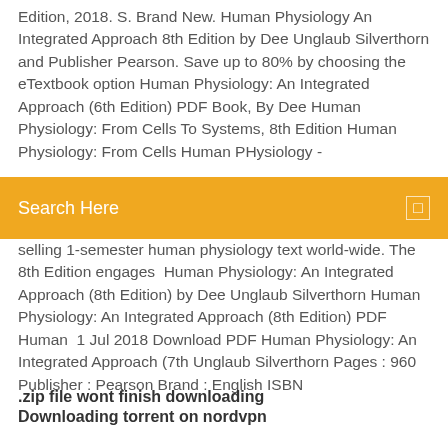Edition, 2018. S. Brand New. Human Physiology An Integrated Approach 8th Edition by Dee Unglaub Silverthorn and Publisher Pearson. Save up to 80% by choosing the eTextbook option Human Physiology: An Integrated Approach (6th Edition) PDF Book, By Dee Human Physiology: From Cells To Systems, 8th Edition Human Physiology: From Cells Human PHysiology -
Search Here
selling 1-semester human physiology text world-wide. The 8th Edition engages  Human Physiology: An Integrated Approach (8th Edition) by Dee Unglaub Silverthorn Human Physiology: An Integrated Approach (8th Edition) PDF Human  1 Jul 2018 Download PDF Human Physiology: An Integrated Approach (7th Unglaub Silverthorn Pages : 960 Publisher : Pearson Brand : English ISBN
.zip file wont finish downloading
Downloading torrent on nordvpn